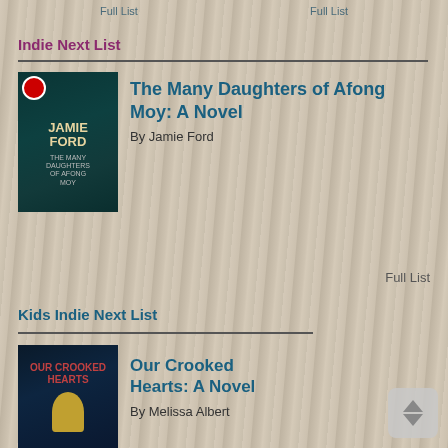Full List   Full List
Indie Next List
[Figure (photo): Book cover of The Many Daughters of Afong Moy by Jamie Ford, dark teal background with author name in gold letters]
The Many Daughters of Afong Moy: A Novel
By Jamie Ford
Full List
Kids Indie Next List
[Figure (photo): Book cover of Our Crooked Hearts: A Novel by Melissa Albert, dark blue background with gold rabbit skull icon and red title text]
Our Crooked Hearts: A Novel
By Melissa Albert